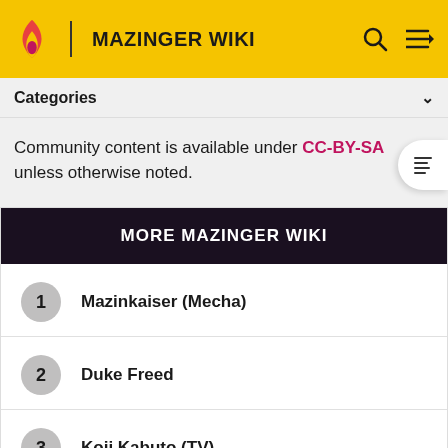MAZINGER WIKI
Categories
Community content is available under CC-BY-SA unless otherwise noted.
MORE MAZINGER WIKI
1 Mazinkaiser (Mecha)
2 Duke Freed
3 Koji Kabuto (TV)